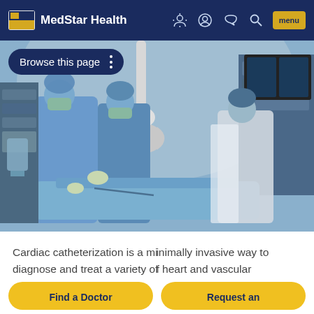MedStar Health
[Figure (photo): Medical professionals in blue surgical gowns and masks performing a cardiac catheterization procedure in a cath lab with imaging equipment and monitors visible.]
Browse this page
Cardiac catheterization is a minimally invasive way to diagnose and treat a variety of heart and vascular conditions by guiding thin, flexible tubes called catheters through blood vessels to problem areas. The experts in our Interventional Cardiology
Find a Doctor
Request an